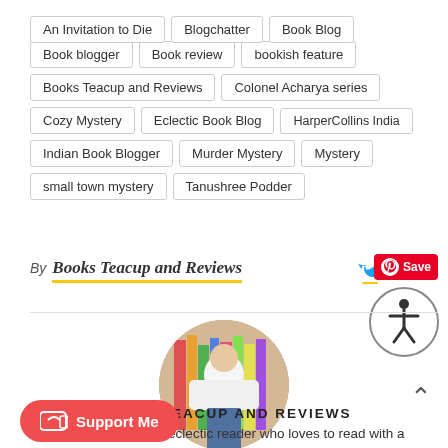An Invitation to Die
Blogchatter
Book Blog
Book blogger
Book review
bookish feature
Books Teacup and Reviews
Colonel Acharya series
Cozy Mystery
Eclectic Book Blog
HarperCollins India
Indian Book Blogger
Murder Mystery
Mystery
small town mystery
Tanushree Podder
By Books Teacup and Reviews
[Figure (photo): Circular profile photo of a person holding a stack of colorful books in front of a bookshelf]
BOOKS TEACUP AND REVIEWS
book blogger. Avid and eclectic reader who loves to read with a cup of tea. Not born